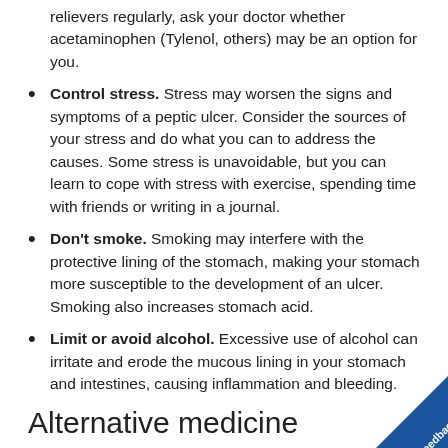relievers regularly, ask your doctor whether acetaminophen (Tylenol, others) may be an option for you.
Control stress. Stress may worsen the signs and symptoms of a peptic ulcer. Consider the sources of your stress and do what you can to address the causes. Some stress is unavoidable, but you can learn to cope with stress with exercise, spending time with friends or writing in a journal.
Don't smoke. Smoking may interfere with the protective lining of the stomach, making your stomach more susceptible to the development of an ulcer. Smoking also increases stomach acid.
Limit or avoid alcohol. Excessive use of alcohol can irritate and erode the mucous lining in your stomach and intestines, causing inflammation and bleeding.
Alternative medicine